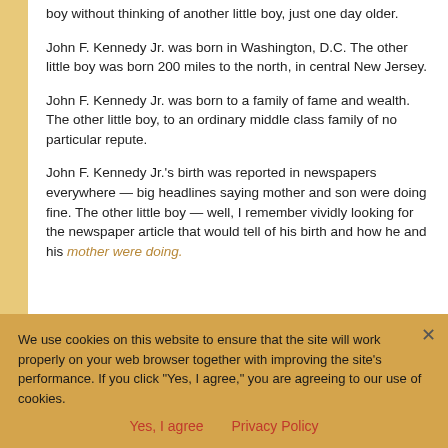boy without thinking of another little boy, just one day older.
John F. Kennedy Jr. was born in Washington, D.C. The other little boy was born 200 miles to the north, in central New Jersey.
John F. Kennedy Jr. was born to a family of fame and wealth. The other little boy, to an ordinary middle class family of no particular repute.
John F. Kennedy Jr.'s birth was reported in newspapers everywhere — big headlines saying mother and son were doing fine. The other little boy — well, I remember vividly looking for the newspaper article that would tell of his birth and how he and his mother were doing.
We use cookies on this website to ensure that the site will work properly on your web browser together with improving the site's performance. If you click "Yes, I agree," you are agreeing to our use of cookies.
Yes, I agree   Privacy Policy